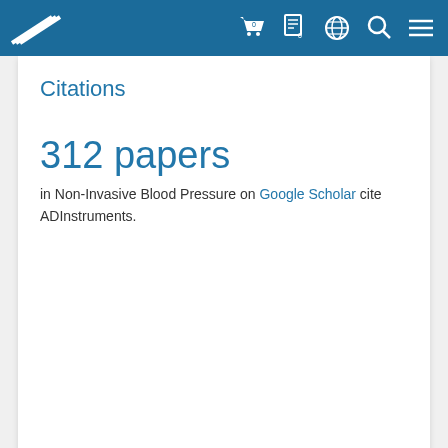ADInstruments navigation bar with logo and icons
Citations
312 papers in Non-Invasive Blood Pressure on Google Scholar cite ADInstruments.
Related Blog Articles